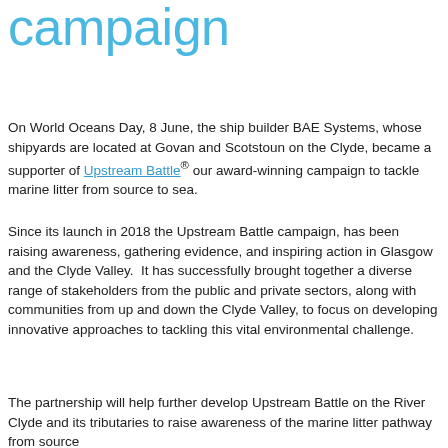campaign
On World Oceans Day, 8 June, the ship builder BAE Systems, whose shipyards are located at Govan and Scotstoun on the Clyde, became a supporter of Upstream Battle® our award-winning campaign to tackle marine litter from source to sea.
Since its launch in 2018 the Upstream Battle campaign, has been raising awareness, gathering evidence, and inspiring action in Glasgow and the Clyde Valley.  It has successfully brought together a diverse range of stakeholders from the public and private sectors, along with communities from up and down the Clyde Valley, to focus on developing innovative approaches to tackling this vital environmental challenge.
The partnership will help further develop Upstream Battle on the River Clyde and its tributaries to raise awareness of the marine litter pathway from source…